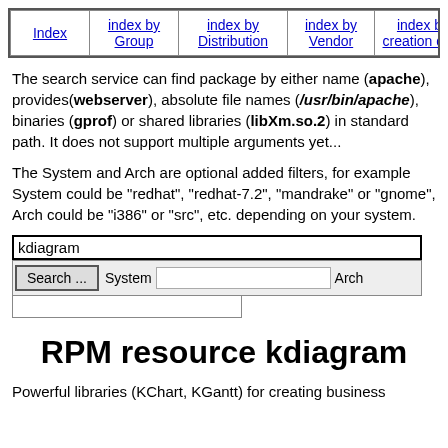| Index | index by Group | index by Distribution | index by Vendor | index by creation date | index by Name | Mirr... |
| --- | --- | --- | --- | --- | --- | --- |
|  |
The search service can find package by either name (apache), provides(webserver), absolute file names (/usr/bin/apache), binaries (gprof) or shared libraries (libXm.so.2) in standard path. It does not support multiple arguments yet...
The System and Arch are optional added filters, for example System could be "redhat", "redhat-7.2", "mandrake" or "gnome", Arch could be "i386" or "src", etc. depending on your system.
[Figure (other): Search form with text input showing 'kdiagram', Search button, System field, Arch label, and a dropdown below]
RPM resource kdiagram
Powerful libraries (KChart, KGantt) for creating business